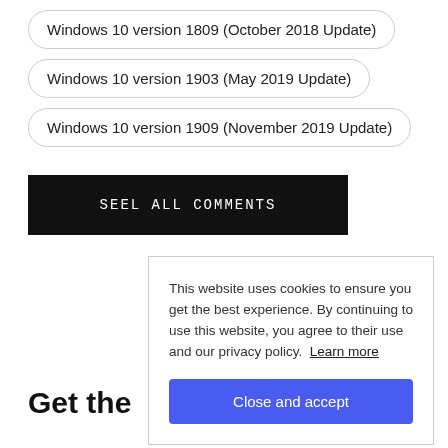Windows 10 version 1809 (October 2018 Update)
Windows 10 version 1903 (May 2019 Update)
Windows 10 version 1909 (November 2019 Update)
SEEL ALL COMMENTS
Get the
This website uses cookies to ensure you get the best experience. By continuing to use this website, you agree to their use and our privacy policy. Learn more
Close and accept